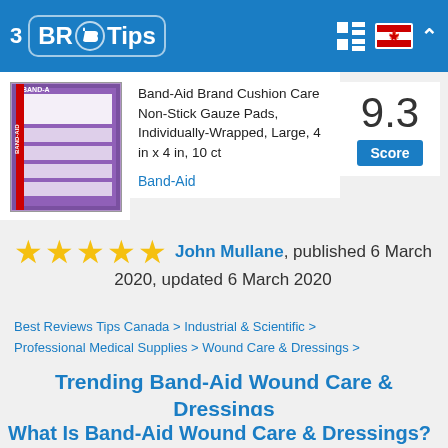3 BR Tips
[Figure (screenshot): Band-Aid brand gauze pads product image with purple packaging]
Band-Aid Brand Cushion Care Non-Stick Gauze Pads, Individually-Wrapped, Large, 4 in x 4 in, 10 ct
Band-Aid
9.3 Score
★★★★★ John Mullane, published 6 March 2020, updated 6 March 2020
Best Reviews Tips Canada > Industrial & Scientific > Professional Medical Supplies > Wound Care & Dressings > Band-Aid Wound Care & Dressings
Trending Band-Aid Wound Care & Dressings Products
What Is Band-Aid Wound Care & Dressings?